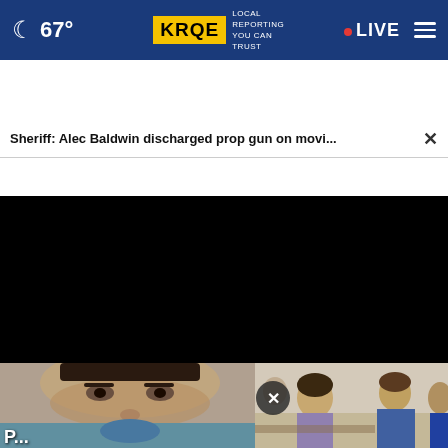67° KRQE LOCAL REPORTING YOU CAN TRUST · LIVE
Sheriff: Alec Baldwin discharged prop gun on movi... ×
[Figure (screenshot): Black video player area (no content visible)]
[Figure (photo): Bottom strip: partial face photo on left, group of people on right, with × close button overlay and Sky City Casino Hotel advertisement banner showing '$49 CDL HOTEL RATE / EXIT 102']
P...